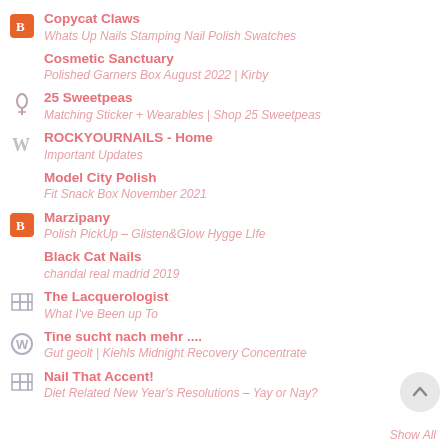Copycat Claws
Whats Up Nails Stamping Nail Polish Swatches
Cosmetic Sanctuary
Polished Garners Box August 2022 | Kirby
25 Sweetpeas
Matching Sticker + Wearables | Shop 25 Sweetpeas
ROCKYOURNAILS - Home
Important Updates
Model City Polish
Fit Snack Box November 2021
Marzipany
Polish PickUp – Glisten&Glow Hygge LIfe
Black Cat Nails
chandal real madrid 2019
The Lacquerologist
What I've Been up To
Tine sucht nach mehr ....
Gut geolt | Kiehls Midnight Recovery Concentrate
Nail That Accent!
Diet Related New Year's Resolutions – Yay or Nay?
Show All